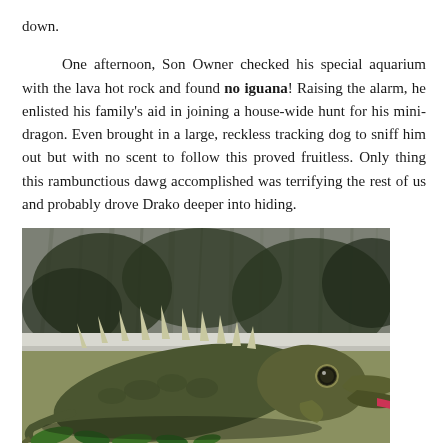down.

      One afternoon, Son Owner checked his special aquarium with the lava hot rock and found no iguana!  Raising the alarm, he enlisted his family's aid in joining a house-wide hunt for his mini-dragon. Even brought in a large, reckless tracking dog to sniff him out but with no scent to follow this proved fruitless.  Only thing this rambunctious dawg accomplished was terrifying the rest of us and probably drove Drako deeper into hiding.
[Figure (photo): Close-up photograph of a green iguana with its mouth open and tongue extended, pink tongue visible, spiky dorsal crest, sitting near a window with green foliage in background]